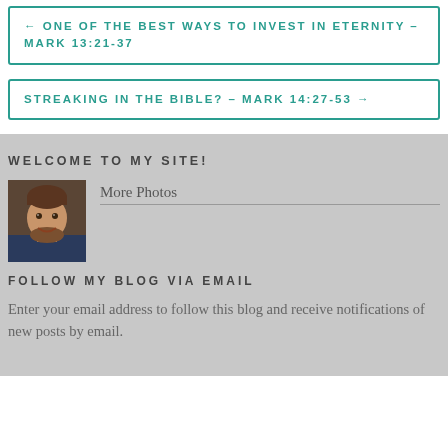← ONE OF THE BEST WAYS TO INVEST IN ETERNITY – MARK 13:21-37
STREAKING IN THE BIBLE? – MARK 14:27-53 →
WELCOME TO MY SITE!
[Figure (photo): Profile photo of a smiling man with a beard]
More Photos
FOLLOW MY BLOG VIA EMAIL
Enter your email address to follow this blog and receive notifications of new posts by email.